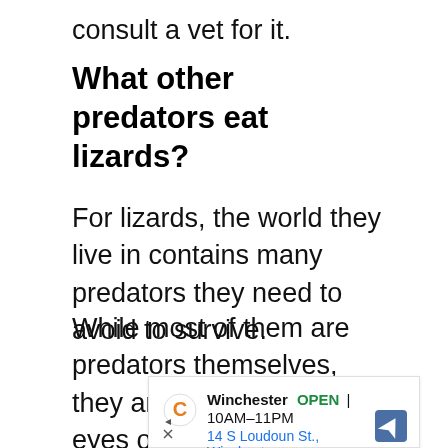consult a vet for it.
What other predators eat lizards?
For lizards, the world they live in contains many predators they need to avoid to survive.
While most of them are predators themselves, they are still food in the eyes of more prominent animals.
[Figure (screenshot): Advertisement for Winchester store showing OPEN status, hours 10AM–11PM, address 14 S Loudoun St., Winchester, with navigation icon and close/skip controls]